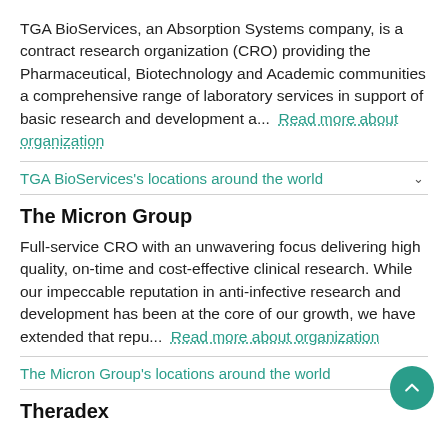TGA BioServices, an Absorption Systems company, is a contract research organization (CRO) providing the Pharmaceutical, Biotechnology and Academic communities a comprehensive range of laboratory services in support of basic research and development a...  Read more about organization
TGA BioServices's locations around the world
The Micron Group
Full-service CRO with an unwavering focus delivering high quality, on-time and cost-effective clinical research. While our impeccable reputation in anti-infective research and development has been at the core of our growth, we have extended that repu...  Read more about organization
The Micron Group's locations around the world
Theradex